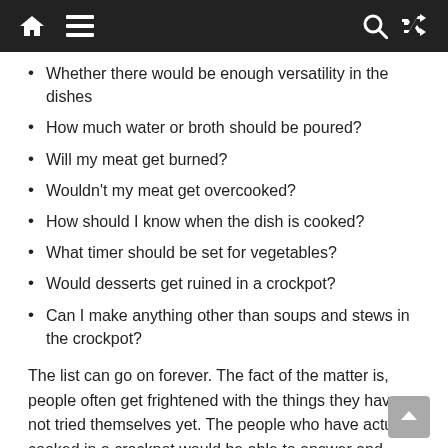Navigation bar with home, menu, search, and shuffle icons
Whether there would be enough versatility in the dishes
How much water or broth should be poured?
Will my meat get burned?
Wouldn't my meat get overcooked?
How should I know when the dish is cooked?
What timer should be set for vegetables?
Would desserts get ruined in a crockpot?
Can I make anything other than soups and stews in the crockpot?
The list can go on forever. The fact of the matter is, people often get frightened with the things they have not tried themselves yet. The people who have actually cooked in a crockpot would be able to answer and clarify all the miss conception regarding the device.
A Few Slow Cooker Tips